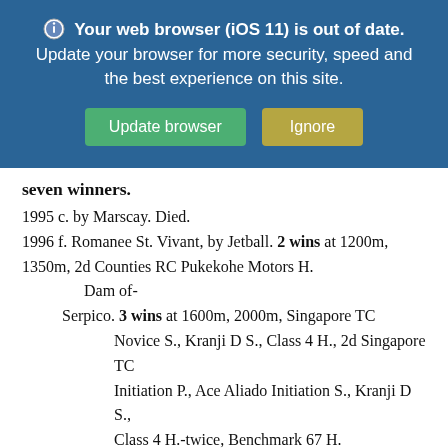[Figure (screenshot): Browser update banner with blue background showing 'Your web browser (iOS 11) is out of date. Update your browser for more security, speed and the best experience on this site.' with green 'Update browser' button and yellow/olive 'Ignore' button.]
seven winners.
1995 c. by Marscay. Died.
1996 f. Romanee St. Vivant, by Jetball. 2 wins at 1200m, 1350m, 2d Counties RC Pukekohe Motors H. Dam of-
Serpico. 3 wins at 1600m, 2000m, Singapore TC Novice S., Kranji D S., Class 4 H., 2d Singapore TC Initiation P., Ace Aliado Initiation S., Kranji D S., Class 4 H.-twice, Benchmark 67 H.
Big Masterplan. Winner at 1600m, 2d Singapore TC Ghozi H., New Paper Trophy, 3d Singapore TC Class 4 H.